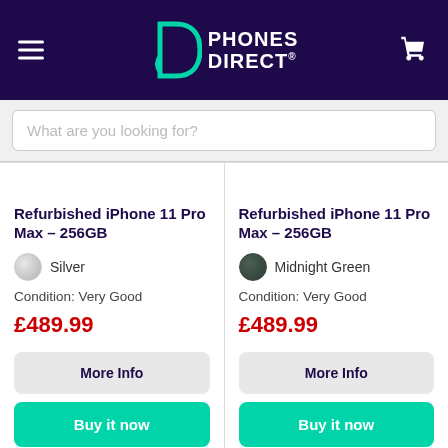[Figure (logo): Phones Direct logo with teal D icon and white bold text on dark purple header, with hamburger menu and cart icon]
What are you looking for?
Refurbished iPhone 11 Pro Max – 256GB
Silver
Condition: Very Good
£489.99
Refurbished iPhone 11 Pro Max – 256GB
Midnight Green
Condition: Very Good
£489.99